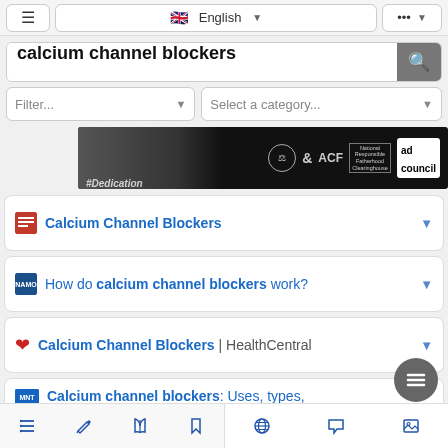Navigation bar with hamburger menu, English language selector, and options button
calcium channel blockers
Filter... | Select a category...
[Figure (photo): Advertisement banner with dark background showing #Dedication text with ACF and Ad Council logos]
Calcium Channel Blockers
How do calcium channel blockers work?
Calcium Channel Blockers | HealthCentral
Calcium channel blockers: Uses, types, and side effects
Bottom navigation bar with list, edit, book, bookmark, globe, chat, and image icons